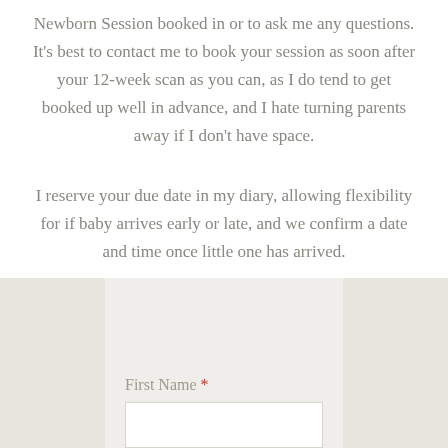Newborn Session booked in or to ask me any questions. It's best to contact me to book your session as soon after your 12-week scan as you can, as I do tend to get booked up well in advance, and I hate turning parents away if I don't have space.
I reserve your due date in my diary, allowing flexibility for if baby arrives early or late, and we confirm a date and time once little one has arrived.
First Name *